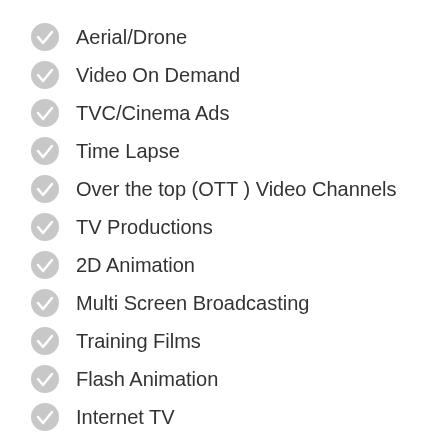Aerial/Drone
Video On Demand
TVC/Cinema Ads
Time Lapse
Over the top (OTT ) Video Channels
TV Productions
2D Animation
Multi Screen Broadcasting
Training Films
Flash Animation
Internet TV